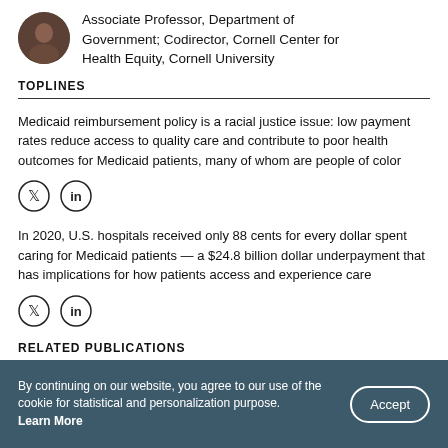Associate Professor, Department of Government; Codirector, Cornell Center for Health Equity, Cornell University
TOPLINES
Medicaid reimbursement policy is a racial justice issue: low payment rates reduce access to quality care and contribute to poor health outcomes for Medicaid patients, many of whom are people of color
[Figure (infographic): Twitter and LinkedIn share icons (two circular icon buttons)]
In 2020, U.S. hospitals received only 88 cents for every dollar spent caring for Medicaid patients — a $24.8 billion dollar underpayment that has implications for how patients access and experience care
[Figure (infographic): Twitter and LinkedIn share icons (two circular icon buttons)]
RELATED PUBLICATIONS
By continuing on our website, you agree to our use of the cookie for statistical and personalization purpose. Learn More